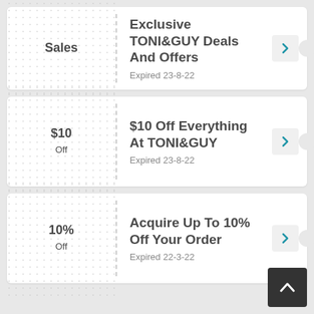[Figure (other): Coupon card 1: Sales badge on left, 'Exclusive TONI&GUY Deals And Offers' title, Expired 23-8-22, arrow button on right]
[Figure (other): Coupon card 2: $10 Off badge on left, '$10 Off Everything At TONI&GUY' title, Expired 23-8-22, arrow button on right]
[Figure (other): Coupon card 3: 10% Off badge on left, 'Acquire Up To 10% Off Your Order' title, Expired 22-3-22, arrow button on right]